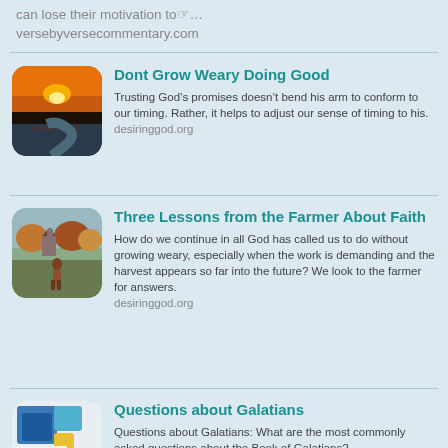can lose their motivation to…
versebyversecommentary.com
[Figure (screenshot): Thumbnail image of a sunset over water with orange sky and a winding river or lake, rounded corners]
Dont Grow Weary Doing Good
Trusting God's promises doesn't bend his arm to conform to our timing. Rather, it helps to adjust our sense of timing to his. desiringgod.org
[Figure (photo): Thumbnail image of a person standing in a field with a barn and trees in autumn colors, viewed from behind, rounded corners]
Three Lessons from the Farmer About Faith
How do we continue in all God has called us to do without growing weary, especially when the work is demanding and the harvest appears so far into the future? We look to the farmer for answers. desiringgod.org
[Figure (screenshot): Thumbnail showing colorful geometric shapes and text reading 'questions' and 'Bible has answers']
Questions about Galatians
Questions about Galatians: What are the most commonly asked questions about the Book of Galatians?